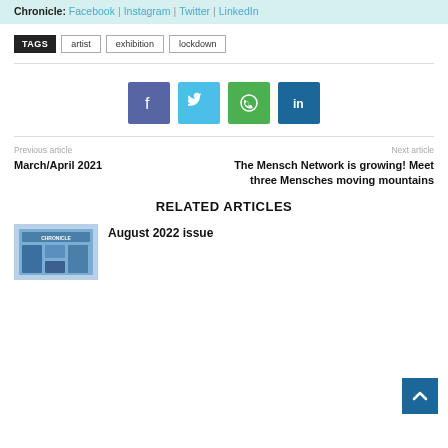Chronicle: Facebook | Instagram | Twitter | LinkedIn
TAGS: artist | exhibition | lockdown
[Figure (other): Social media share buttons: Facebook, Twitter, WhatsApp, LinkedIn]
Previous article
March/April 2021
Next article
The Mensch Network is growing! Meet three Mensches moving mountains
RELATED ARTICLES
[Figure (photo): Chronicle magazine cover thumbnail]
August 2022 issue